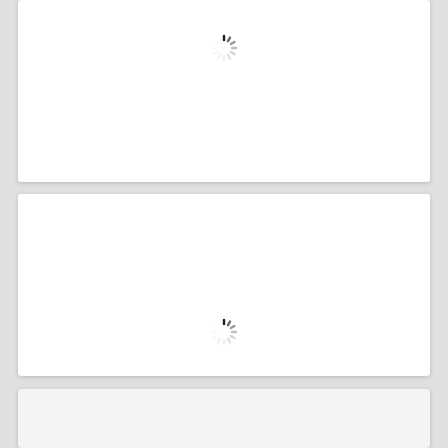[Figure (other): White card panel with a loading spinner icon centered near the top]
[Figure (other): White card panel with a loading spinner icon centered near the bottom]
[Figure (other): Light gray card panel at the bottom, partially visible, no spinner]